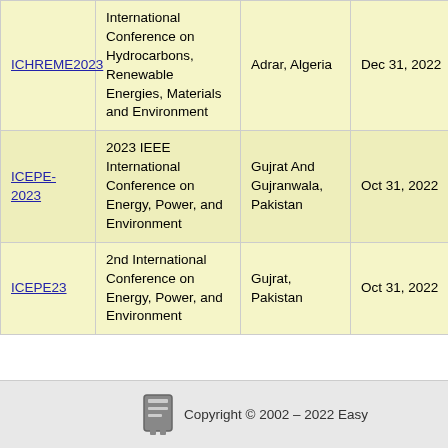| Acronym | Full Name | Location | Submission Deadline | Date |
| --- | --- | --- | --- | --- |
| ICHREME2023 | International Conference on Hydrocarbons, Renewable Energies, Materials and Environment | Adrar, Algeria | Dec 31, 2022 | Feb |
| ICEPE-2023 | 2023 IEEE International Conference on Energy, Power, and Environment | Gujrat And Gujranwala, Pakistan | Oct 31, 2022 | Ma |
| ICEPE23 | 2nd International Conference on Energy, Power, and Environment | Gujrat, Pakistan | Oct 31, 2022 | Ma |
Copyright © 2002 – 2022 Easy